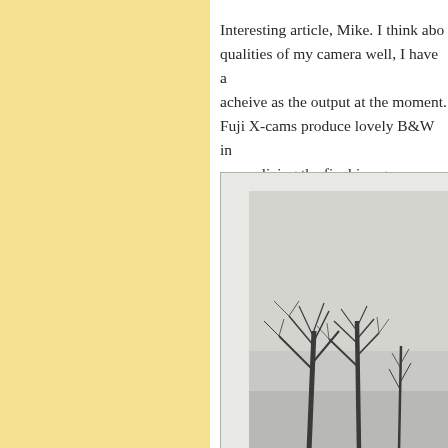Interesting article, Mike. I think about qualities of my camera well, I have a acheive as the output at the moment. Fuji X-cams produce lovely B&W in me realizing the final image.

From Yosemite just this last March,
[Figure (photo): Black and white photograph of bare winter trees against a light grey sky, shown within a white-matted frame with grey border, partially visible (cropped at right and bottom edges of page)]